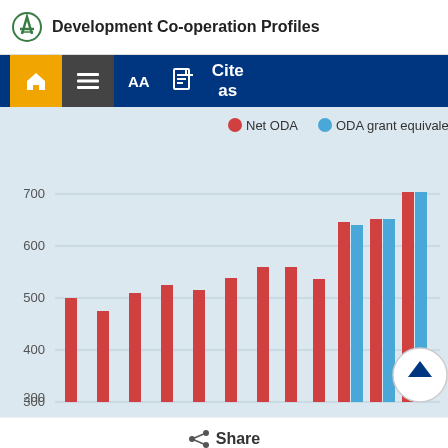Development Co-operation Profiles
[Figure (grouped-bar-chart): ]
Share